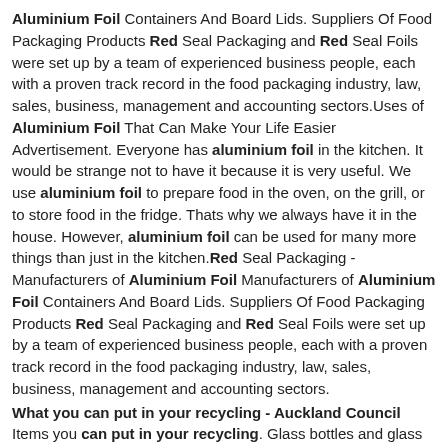Aluminium Foil Containers And Board Lids. Suppliers Of Food Packaging Products Red Seal Packaging and Red Seal Foils were set up by a team of experienced business people, each with a proven track record in the food packaging industry, law, sales, business, management and accounting sectors.Uses of Aluminium Foil That Can Make Your Life Easier Advertisement. Everyone has aluminium foil in the kitchen. It would be strange not to have it because it is very useful. We use aluminium foil to prepare food in the oven, on the grill, or to store food in the fridge. Thats why we always have it in the house. However, aluminium foil can be used for many more things than just in the kitchen.Red Seal Packaging - Manufacturers of Aluminium Foil Manufacturers of Aluminium Foil Containers And Board Lids. Suppliers Of Food Packaging Products Red Seal Packaging and Red Seal Foils were set up by a team of experienced business people, each with a proven track record in the food packaging industry, law, sales, business, management and accounting sectors.
What you can put in your recycling - Auckland Council
Items you can put in your recycling. Glass bottles and glass jars. Tin, steel and aluminium cans, including empty aerosols. Plastic bottles from your kitchen, bathroom and laundry ( plastic grades 1-7) Clear plastic food containers. Pizza boxes (remove any leftover food)Zip Lock Bag Aluminium Foil NZ Buy New Zip Lock Bag zip lock bag aluminium foil. Seeking the best zip lock bag aluminium foil with good quality and affordable prices from DHgate NZ site. We provide a variety of cheap foil zip bags supplied by reliable sellers